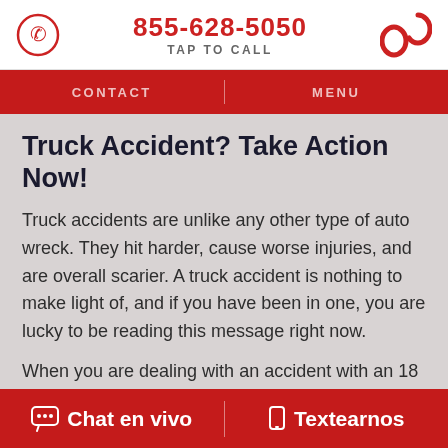855-628-5050 TAP TO CALL
Truck Accident? Take Action Now!
Truck accidents are unlike any other type of auto wreck. They hit harder, cause worse injuries, and are overall scarier. A truck accident is nothing to make light of, and if you have been in one, you are lucky to be reading this message right now.
When you are dealing with an accident with an 18 wheeler, tractor trailer, big rig, construction vehicle, or other commercial truck, you are going to be up
Chat en vivo  Textearnos